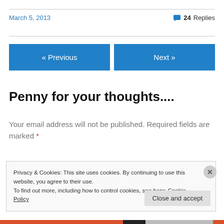March 5, 2013
💬 24 Replies
« Previous
Next »
Penny for your thoughts....
Your email address will not be published. Required fields are marked *
Privacy & Cookies: This site uses cookies. By continuing to use this website, you agree to their use. To find out more, including how to control cookies, see here: Cookie Policy
Close and accept